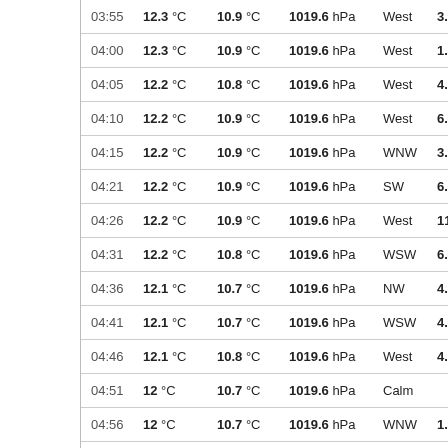| Time | Temp | Dew Point | Pressure | Wind | Visibility |
| --- | --- | --- | --- | --- | --- |
| 03:55 | 12.3 °C | 10.9 °C | 1019.6 hPa | West | 3.2 km |
| 04:00 | 12.3 °C | 10.9 °C | 1019.6 hPa | West | 1.4 km |
| 04:05 | 12.2 °C | 10.8 °C | 1019.6 hPa | West | 4.7 km |
| 04:10 | 12.2 °C | 10.9 °C | 1019.6 hPa | West | 6.4 km |
| 04:15 | 12.2 °C | 10.9 °C | 1019.6 hPa | WNW | 3.2 km |
| 04:21 | 12.2 °C | 10.9 °C | 1019.6 hPa | SW | 6.4 km |
| 04:26 | 12.2 °C | 10.9 °C | 1019.6 hPa | West | 11.1 km |
| 04:31 | 12.2 °C | 10.8 °C | 1019.6 hPa | WSW | 6.4 km |
| 04:36 | 12.1 °C | 10.7 °C | 1019.6 hPa | NW | 4.7 km |
| 04:41 | 12.1 °C | 10.7 °C | 1019.6 hPa | WSW | 4.7 km |
| 04:46 | 12.1 °C | 10.8 °C | 1019.6 hPa | West | 4.7 km |
| 04:51 | 12 °C | 10.7 °C | 1019.6 hPa | Calm |  |
| 04:56 | 12 °C | 10.7 °C | 1019.6 hPa | WNW | 1.4 km |
| 05:01 | 11.9 °C | 10.6 °C | 1019.6 hPa | WNW | 1.4 km |